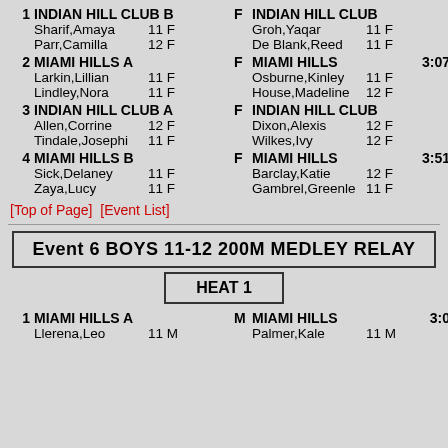1 INDIAN HILL CLUB B | Sharif,Amaya 11 F | Parr,Camilla 12 F
F INDIAN HILL CLUB | Groh,Yaqar 11 F | De Blank,Reed 11 F
2 MIAMI HILLS A | Larkin,Lillian 11 F | Lindley,Nora 11 F
F MIAMI HILLS 3:07 | Osburne,Kinley 11 F | House,Madeline 12 F
3 INDIAN HILL CLUB A | Allen,Corrine 12 F | Tindale,Josephi 11 F
F INDIAN HILL CLUB | Dixon,Alexis 12 F | Wilkes,Ivy 12 F
4 MIAMI HILLS B | Sick,Delaney 11 F | Zaya,Lucy 11 F
F MIAMI HILLS 3:51 | Barclay,Katie 12 F | Gambrel,Greenle 11 F
[Top of Page]  [Event List]
Event 6 BOYS 11-12 200M MEDLEY RELAY
HEAT 1
1 MIAMI HILLS A M MIAMI HILLS 3:0 | Llerena,Leo 11 M | Palmer,Kale 11 M